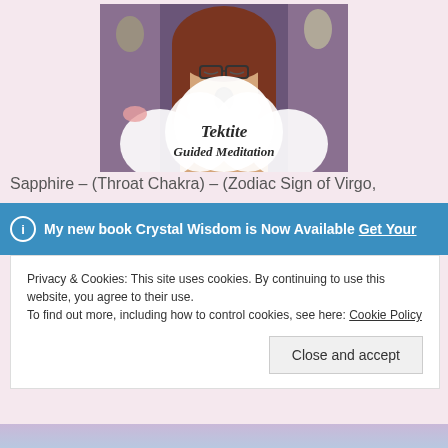[Figure (photo): Video thumbnail showing a woman with glasses holding a dark crystal/tektite stone, with text overlay reading 'Tektite Guided Meditation' on a white lotus shape background. Shelves with crystals and figurines visible behind her.]
Sapphire – (Throat Chakra) – (Zodiac Sign of Virgo,
My new book Crystal Wisdom is Now Available Get Your
Privacy & Cookies: This site uses cookies. By continuing to use this website, you agree to their use.
To find out more, including how to control cookies, see here: Cookie Policy
Close and accept